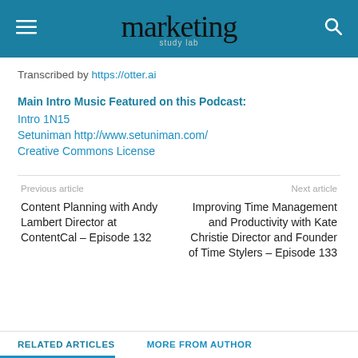marketing study lab
Transcribed by https://otter.ai
Main Intro Music Featured on this Podcast:
Intro 1N15
Setuniman http://www.setuniman.com/
Creative Commons License
Previous article
Next article
Content Planning with Andy Lambert Director at ContentCal – Episode 132
Improving Time Management and Productivity with Kate Christie Director and Founder of Time Stylers – Episode 133
RELATED ARTICLES   MORE FROM AUTHOR